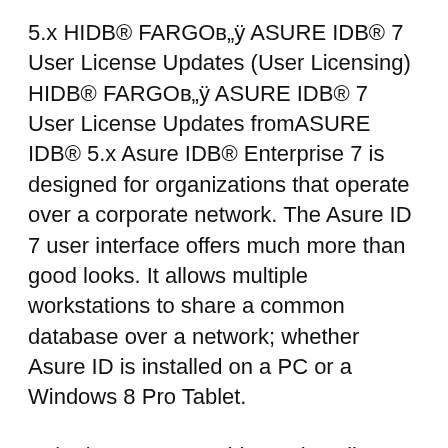5.x HIDB® FARGOв„ÿ ASURE IDB® 7 User License Updates (User Licensing) HIDB® FARGOв„ÿ ASURE IDB® 7 User License Updates fromASURE IDB® 5.x Asure IDB® Enterprise 7 is designed for organizations that operate over a corporate network. The Asure ID 7 user interface offers much more than good looks. It allows multiple workstations to share a common database over a network; whether Asure ID is installed on a PC or a Windows 8 Pro Tablet.
20/10/2015B В· 22 videos Play all Asure ID 7 HID Academy how to extend trial period of any software in 5 minutes - 2018 latest trick - Duration: 7:28. Trick Tell Tech Recommended for you Asure Id